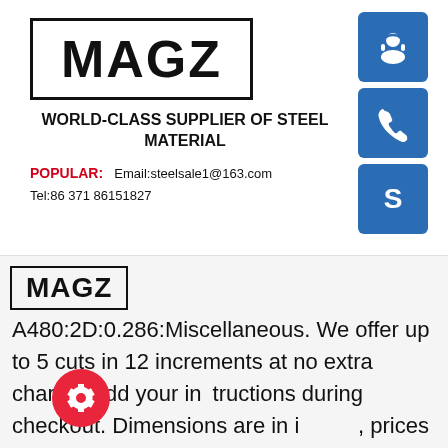[Figure (logo): MAGZ logo in bold black text inside a rectangular border]
WORLD-CLASS SUPPLIER OF STEEL MATERIAL
POPULAR: Email:steelsale1@163.com Tel:86 371 86151827
[Figure (logo): Blue square icon buttons: headset/support, phone, Skype]
[Figure (logo): MAGZ small logo in rectangular border]
A480:2D:0.286:Miscellaneous. We offer up to 5 cuts in 12 increments at no extra charge. Add your instructions during checkout. Dimensions are in i[nches], prices are USD, and weights are in pounds